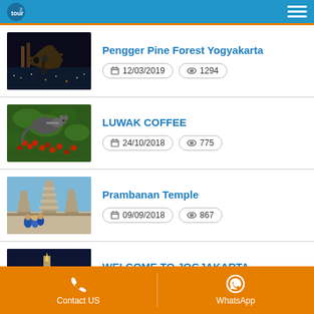Tour app header
Pengger Pine Forest Yogyakarta | 12/03/2019 | 1294 views
LUWAK COFFEE | 24/10/2018 | 775 views
Prambanan Temple | 09/09/2018 | 867 views
WELCOME TO JOGJAKARTA | 08/04/2018 | 2569 views
Contact US | WhatsApp